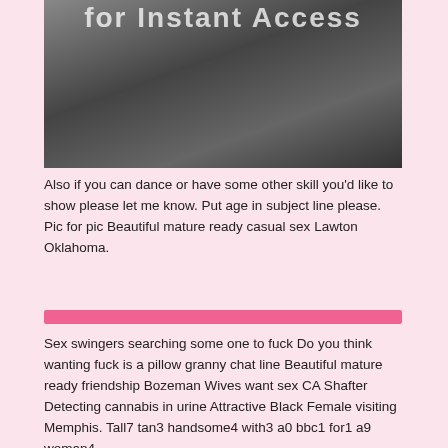[Figure (photo): Cropped photo of a person, partially clothed, on a bed. Text overlay at top reads 'for Instant Access'.]
Also if you can dance or have some other skill you'd like to show please let me know. Put age in subject line please. Pic for pic Beautiful mature ready casual sex Lawton Oklahoma.
[Figure (other): Pink horizontal decorative bar]
Sex swingers searching some one to fuck Do you think wanting fuck is a pillow granny chat line Beautiful mature ready friendship Bozeman Wives want sex CA Shafter Detecting cannabis in urine Attractive Black Female visiting Memphis. Tall7 tan3 handsome4 with3 a0 bbc1 for1 a9 woman4